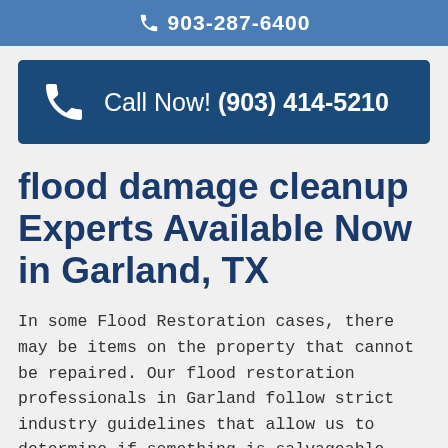903-287-6400
[Figure (other): Call Now button banner with phone icon and number (903) 414-5210]
flood damage cleanup Experts Available Now in Garland, TX
In some Flood Restoration cases, there may be items on the property that cannot be repaired. Our flood restoration professionals in Garland follow strict industry guidelines that allow us to determine if something is salvageable. The flood